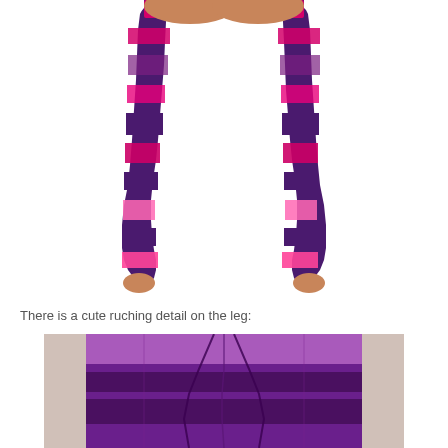[Figure (photo): Woman's legs wearing purple and pink striped capri/crop leggings, shown from waist to ankle on white background.]
There is a cute ruching detail on the leg:
[Figure (photo): Close-up detail photo of the ruching on the leg of purple and pink striped leggings, showing fabric gathering detail.]